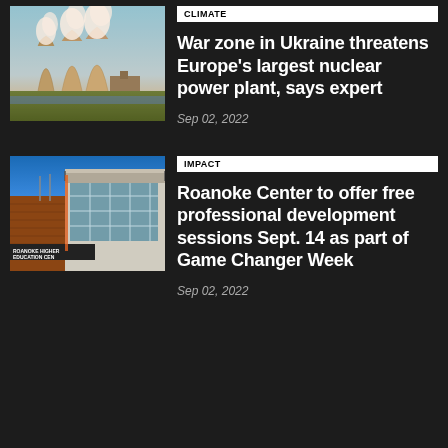[Figure (photo): Nuclear power plant cooling towers with steam, photographed at golden hour]
CLIMATE
War zone in Ukraine threatens Europe's largest nuclear power plant, says expert
Sep 02, 2022
[Figure (photo): Roanoke Higher Education Center building exterior]
IMPACT
Roanoke Center to offer free professional development sessions Sept. 14 as part of Game Changer Week
Sep 02, 2022